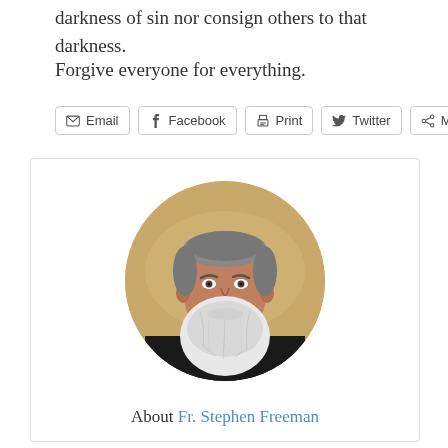darkness of sin nor consign others to that darkness.
Forgive everyone for everything.
Email | Facebook | Print | Twitter | More
[Figure (photo): Circular portrait photo of Fr. Stephen Freeman, a middle-aged man with grey hair and a large white/grey beard, wearing a black garment, against a warm golden/tan blurred background.]
About Fr. Stephen Freeman